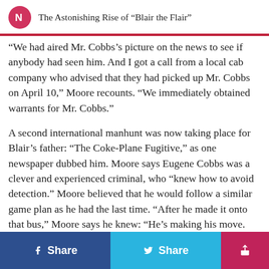The Astonishing Rise of “Blair the Flair”
“We had aired Mr. Cobbs’s picture on the news to see if anybody had seen him. And I got a call from a local cab company who advised that they had picked up Mr. Cobbs on April 10,” Moore recounts. “We immediately obtained warrants for Mr. Cobbs.”
A second international manhunt was now taking place for Blair’s father: “The Coke-Plane Fugitive,” as one newspaper dubbed him. Moore says Eugene Cobbs was a clever and experienced criminal, who “knew how to avoid detection.” Moore believed that he would follow a similar game plan as he had the last time. “After he made it onto that bus,” Moore says he knew: “He’s making his move. He’s going to Mexico.”